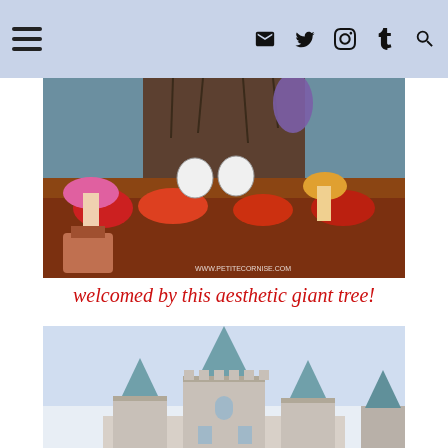[Navigation bar with hamburger menu, mail, twitter, instagram, tumblr, and search icons]
[Figure (photo): Colorful theme park display featuring large decorative flowers, mushrooms, cartoon mouse characters, and flower pots under a giant tree with hanging decorations. Watermark: www.petitecornise.com]
welcomed by this aesthetic giant tree!
[Figure (photo): Castle with turrets and spires against a pale sky, cropped showing just the top towers]